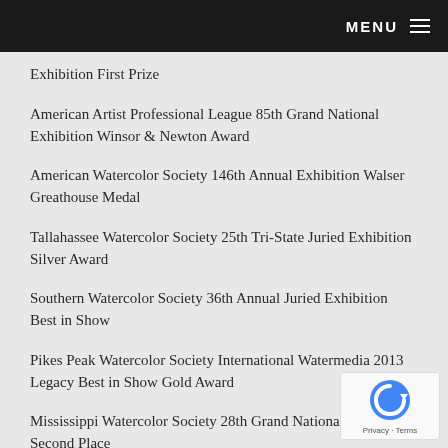MENU
Exhibition First Prize
American Artist Professional League 85th Grand National Exhibition Winsor & Newton Award
American Watercolor Society 146th Annual Exhibition Walser Greathouse Medal
Tallahassee Watercolor Society 25th Tri-State Juried Exhibition Silver Award
Southern Watercolor Society 36th Annual Juried Exhibition Best in Show
Pikes Peak Watercolor Society International Watermedia 2013 Legacy Best in Show Gold Award
Mississippi Watercolor Society 28th Grand National Exhibition Second Place